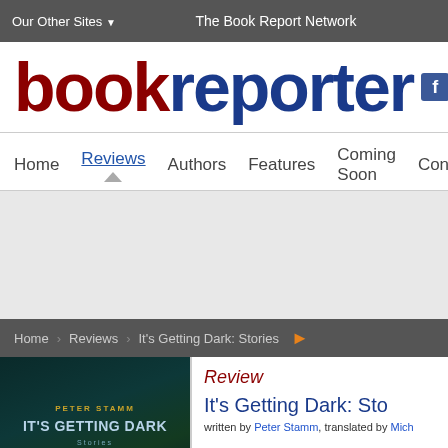Our Other Sites  |  The Book Report Network
[Figure (logo): bookreporter logo in dark red and dark blue text]
Home   Reviews   Authors   Features   Coming Soon   Conte
[Figure (other): Gray advertisement/banner area]
Home > Reviews > It's Getting Dark: Stories
[Figure (photo): Book cover: It's Getting Dark by Peter Stamm, dark teal background with gold bottom strip]
Review
It's Getting Dark: St
written by Peter Stamm, translated by Mich